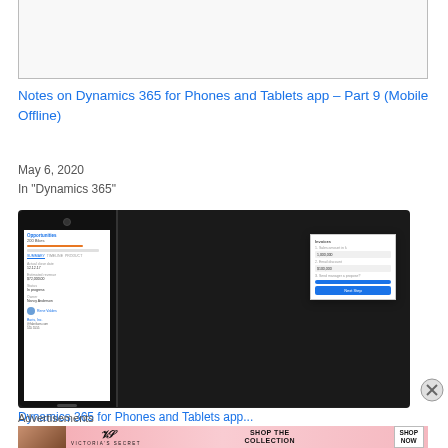[Figure (screenshot): Top portion of a mobile app screenshot showing a white UI with border]
Notes on Dynamics 365 for Phones and Tablets app – Part 9 (Mobile Offline)
May 6, 2020
In "Dynamics 365"
[Figure (screenshot): Screenshot showing Dynamics 365 app displayed on a smartphone and tablet side by side, showing Opportunities - 200 Bikes with details, contacts, and a popup overlay]
Dynamics 365 for Phones and Tablets app...
Advertisements
[Figure (photo): Victoria's Secret advertisement banner with a woman, VS logo, 'SHOP THE COLLECTION' text and 'SHOP NOW' button]